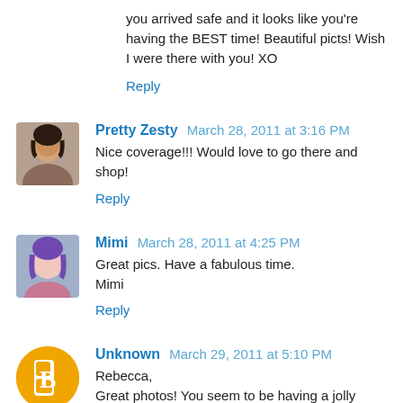you arrived safe and it looks like you're having the BEST time! Beautiful picts! Wish I were there with you! XO
Reply
Pretty Zesty  March 28, 2011 at 3:16 PM
Nice coverage!!! Would love to go there and shop!
Reply
Mimi  March 28, 2011 at 4:25 PM
Great pics. Have a fabulous time.
Mimi
Reply
Unknown  March 29, 2011 at 5:10 PM
Rebecca,
Great photos! You seem to be having a jolly good time "down under".